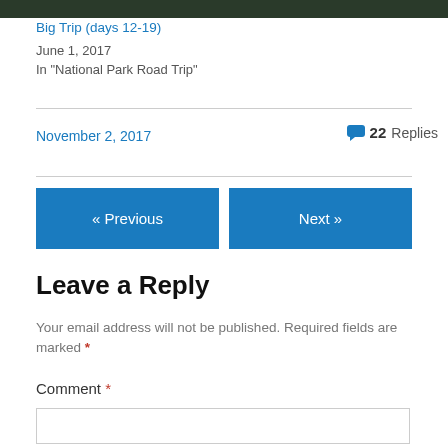[Figure (photo): Dark forest/nature photo strip at top of page]
Big Trip (days 12-19)
June 1, 2017
In "National Park Road Trip"
November 2, 2017
22 Replies
« Previous
Next »
Leave a Reply
Your email address will not be published. Required fields are marked *
Comment *